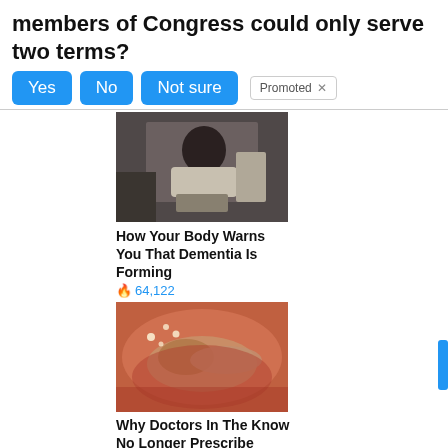members of Congress could only serve two terms?
Yes | No | Not sure
[Figure (photo): Elderly person sitting on a bed, hunched over, wearing a white robe]
How Your Body Warns You That Dementia Is Forming
🔥 64,122
[Figure (photo): Close-up medical image of intestinal/gastric tissue with pinkish-tan coloring]
Why Doctors In The Know No Longer Prescribe Metformin
🔥 119,998